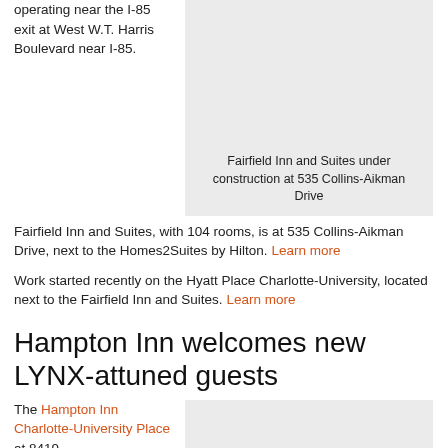operating near the I-85 exit at West W.T. Harris Boulevard near I-85.
[Figure (photo): Fairfield Inn and Suites under construction at 535 Collins-Aikman Drive]
Fairfield Inn and Suites under construction at 535 Collins-Aikman Drive
Fairfield Inn and Suites, with 104 rooms, is at 535 Collins-Aikman Drive, next to the Homes2Suites by Hilton. Learn more
Work started recently on the Hyatt Place Charlotte-University, located next to the Fairfield Inn and Suites. Learn more
Hampton Inn welcomes new LYNX-attuned guests
The Hampton Inn Charlotte-University Place at 8419